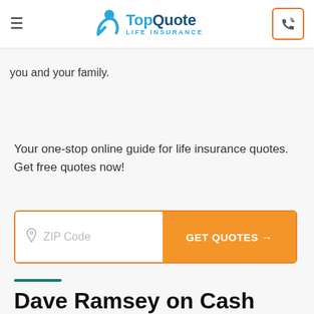TopQuote Life Insurance — navigation header with hamburger menu and phone button
you and your family.
Your one-stop online guide for life insurance quotes. Get free quotes now!
[Figure (other): ZIP Code input field with orange GET QUOTES → button]
Dave Ramsey on Cash Value